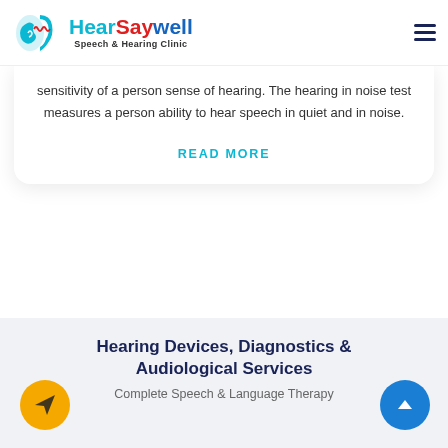[Figure (logo): HearSaywell Speech & Hearing Clinic logo with ear/face icon]
sensitivity of a person sense of hearing. The hearing in noise test measures a person ability to hear speech in quiet and in noise.
READ MORE
Hearing Devices, Diagnostics & Audiological Services
Complete Speech & Language Therapy